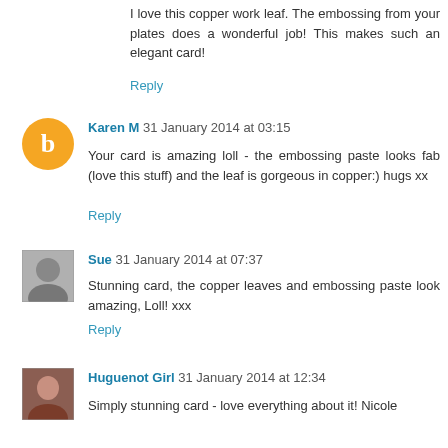I love this copper work leaf. The embossing from your plates does a wonderful job! This makes such an elegant card!
Reply
Karen M 31 January 2014 at 03:15
Your card is amazing loll - the embossing paste looks fab (love this stuff) and the leaf is gorgeous in copper:) hugs xx
Reply
Sue 31 January 2014 at 07:37
Stunning card, the copper leaves and embossing paste look amazing, Loll! xxx
Reply
Huguenot Girl 31 January 2014 at 12:34
Simply stunning card - love everything about it! Nicole